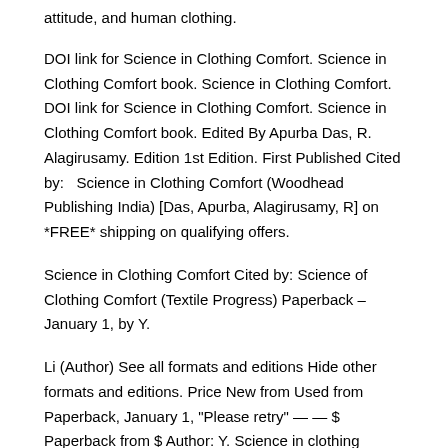attitude, and human clothing.
DOI link for Science in Clothing Comfort. Science in Clothing Comfort book. Science in Clothing Comfort. DOI link for Science in Clothing Comfort. Science in Clothing Comfort book. Edited By Apurba Das, R. Alagirusamy. Edition 1st Edition. First Published Cited by:   Science in Clothing Comfort (Woodhead Publishing India) [Das, Apurba, Alagirusamy, R] on *FREE* shipping on qualifying offers.
Science in Clothing Comfort Cited by: Science of Clothing Comfort (Textile Progress) Paperback – January 1, by Y.
Li (Author) See all formats and editions Hide other formats and editions. Price New from Used from Paperback, January 1, "Please retry" — — $ Paperback from $ Author: Y. Science in clothing comfort. [A Das; R Alagirusamy] -- Clothing comfort is one of the most important attributes of textile materials.
A basic understanding of comfort aspects of textile materials is extremely useful for fibre, yarn and fabric. Science in clothing comfort. [A Das; R Alagirusamy] -- Clothing comfort is one of the most